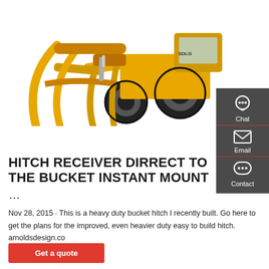[Figure (photo): Yellow front loader wheel loader with large grapple/claw bucket attachment, brand mark SDLG visible on cab]
[Figure (infographic): Dark grey sidebar with three contact options: Chat (headset icon), Email (envelope icon), Contact (speech bubble icon), separated by red lines]
HITCH RECEIVER DIRRECT TO THE BUCKET INSTANT MOUNT ...
Nov 28, 2015 · This is a heavy duty bucket hitch I recently built. Go here to get the plans for the improved, even heavier duty easy to build hitch. arnoldsdesign.co
Get a quote